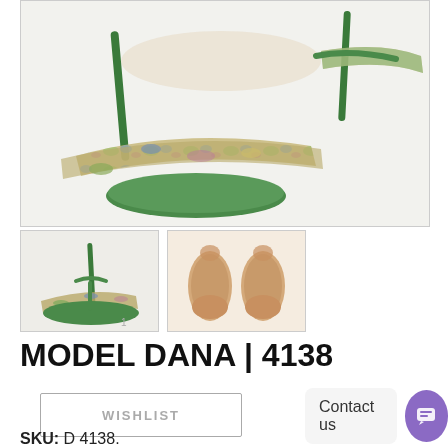[Figure (photo): Main product photo of tango dance sandals with green leather sole/strap and multicolor floral patterned straps on white background. JNI Tango Store logo watermark visible bottom right.]
[Figure (photo): Thumbnail 1: Side view of green and floral tango sandal heels.]
[Figure (photo): Thumbnail 2: Bottom/sole view of the dance sandals showing tan suede soles.]
MODEL DANA | 4138
WISHLIST
Contact us
SKU: D 4138.